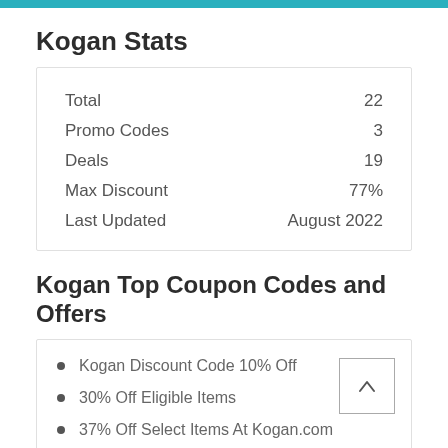Kogan Stats
|  |  |
| --- | --- |
| Total | 22 |
| Promo Codes | 3 |
| Deals | 19 |
| Max Discount | 77% |
| Last Updated | August 2022 |
Kogan Top Coupon Codes and Offers
Kogan Discount Code 10% Off
30% Off Eligible Items
37% Off Select Items At Kogan.com
Buy 2 Get 30% Off On Your Second